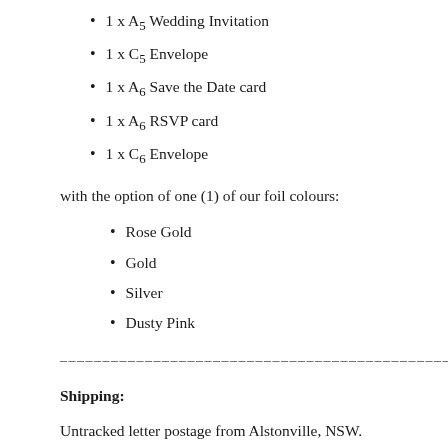1 x A5 Wedding Invitation
1 x C5 Envelope
1 x A6 Save the Date card
1 x A6 RSVP card
1 x C6 Envelope
with the option of one (1) of our foil colours:
Rose Gold
Gold
Silver
Dusty Pink
Shipping:
Untracked letter postage from Alstonville, NSW.